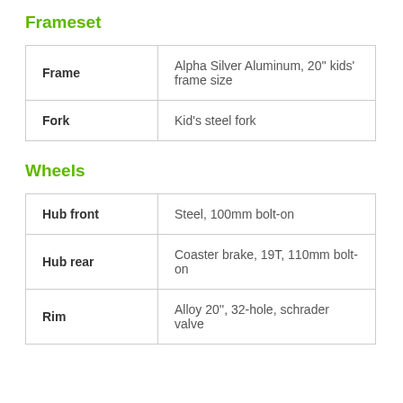Frameset
| Frame | Alpha Silver Aluminum, 20'' kids' frame size |
| Fork | Kid's steel fork |
Wheels
| Hub front | Steel, 100mm bolt-on |
| Hub rear | Coaster brake, 19T, 110mm bolt-on |
| Rim | Alloy 20'', 32-hole, schrader valve |